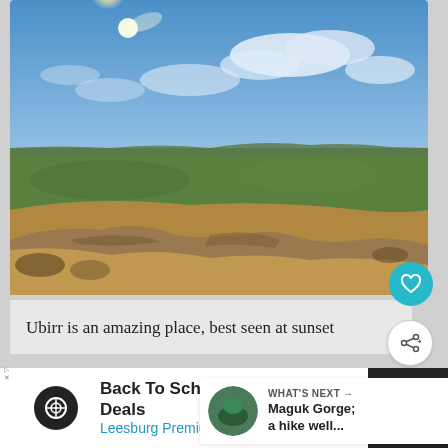[Figure (photo): Landscape photo of Ubirr, Australia, showing rocky escarpment in the foreground with dry golden grass, green plains stretching to the horizon, blue sky with white clouds, and bright sun in upper left.]
Ubirr is an amazing place, best seen at sunset
WHAT'S NEXT → Maguk Gorge; a hike well...
Back To School Shopping Deals
Leesburg Premium Outlets